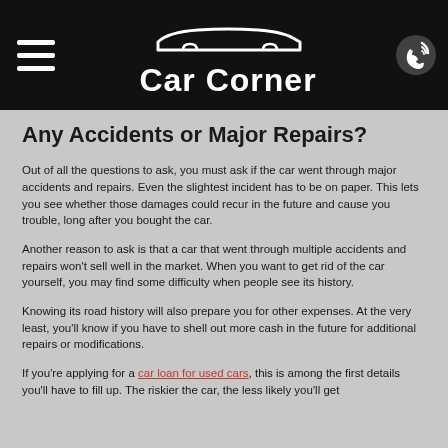Car Corner
Any Accidents or Major Repairs?
Out of all the questions to ask, you must ask if the car went through major accidents and repairs. Even the slightest incident has to be on paper. This lets you see whether those damages could recur in the future and cause you trouble, long after you bought the car.
Another reason to ask is that a car that went through multiple accidents and repairs won't sell well in the market. When you want to get rid of the car yourself, you may find some difficulty when people see its history.
Knowing its road history will also prepare you for other expenses. At the very least, you'll know if you have to shell out more cash in the future for additional repairs or modifications.
If you're applying for a car loan for used cars, this is among the first details you'll have to fill up. The riskier the car, the less likely you'll get